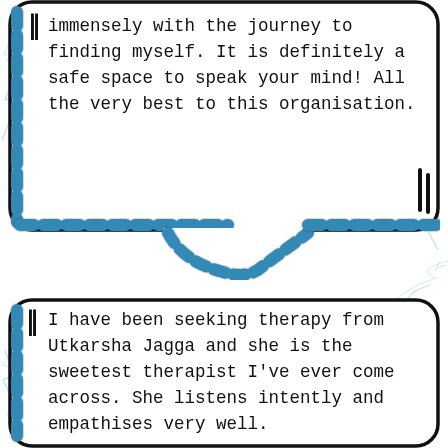[Figure (illustration): Comic-style speech bubble (top) with dashed blue border and rope-like tail at bottom center, containing a quote about finding oneself and a safe space to speak. Above a decorative white/blue background with lightning crack lines.]
immensely with the journey to finding myself. It is definitely a safe space to speak your mind! All the very best to this organisation.
[Figure (illustration): Comic-style speech bubble (bottom) with dashed blue border, containing a quote about seeking therapy from Utkarsha Jagga. Blue decorative branch/crack lines visible on sides.]
I have been seeking therapy from Utkarsha Jagga and she is the sweetest therapist I've ever come across. She listens intently and empathises very well.